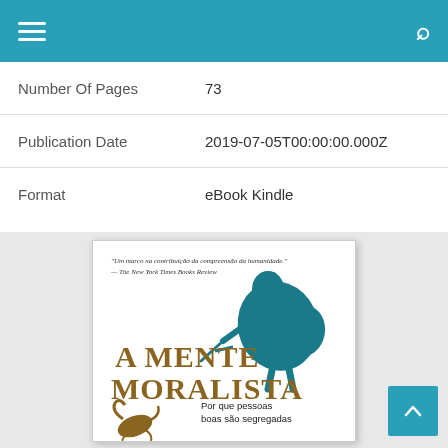Navigation bar with hamburger menu and search icon
| Field | Value |
| --- | --- |
| Number Of Pages | 73 |
| Publication Date | 2019-07-05T00:00:00.000Z |
| Format | eBook Kindle |
[Figure (illustration): Book cover of 'A Mente Moralista' featuring a Spartan warrior silhouette in dark teal with a sword and shield, quote from The New York Times Books Review at top, title in large gold serif text, subtitle 'Por que pessoas boas são segregadas' at bottom, with a brown decorative animal figure at lower left.]